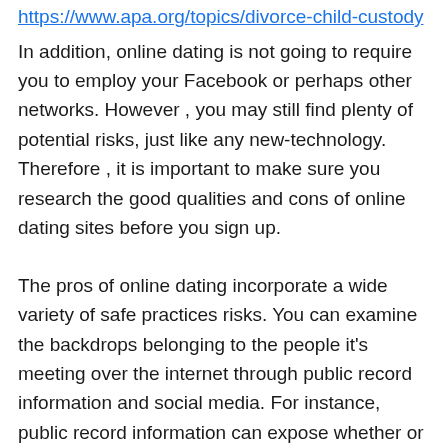https://www.apa.org/topics/divorce-child-custody
In addition, online dating is not going to require you to employ your Facebook or perhaps other networks. However , you may still find plenty of potential risks, just like any new-technology. Therefore , it is important to make sure you research the good qualities and cons of online dating sites before you sign up.
The pros of online dating incorporate a wide variety of safe practices risks. You can examine the backdrops belonging to the people it's meeting over the internet through public record information and social media. For instance, public record information can expose whether or not the person you're reaching was involved in any serious misconduct. Online dating does not must be a daunting experience – with right safety